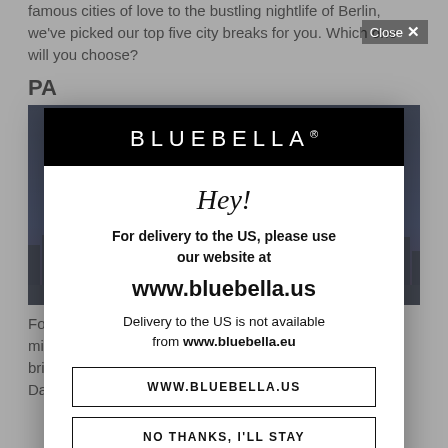famous cities of love to the bustling nightlife of Berlin, we've picked our top five city breaks for you. Which one will you choose?
PA
[Figure (photo): Aerial/skyline night photo of Paris with illuminated cityscape]
Fo... mind is naturally Paris. The famous sightseeing that brings in most tourists are the Eiffel Tower, Notre Da...
[Figure (screenshot): Modal popup with BLUEBELLA logo on black header, message about US delivery to www.bluebella.us, with buttons WWW.BLUEBELLA.US and NO THANKS, I'LL STAY. Close button in top right.]